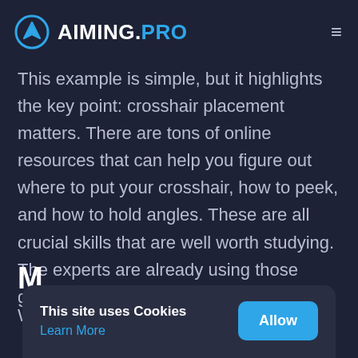AIMING.PRO
This example is simple, but it highlights the key point: crosshair placement matters. There are tons of online resources that can help you figure out where to put your crosshair, how to peek, and how to hold angles. These are all crucial skills that are well worth studying. The experts are already using those guides, so you should, too.
M
We
This site uses Cookies
Learn More
Allow